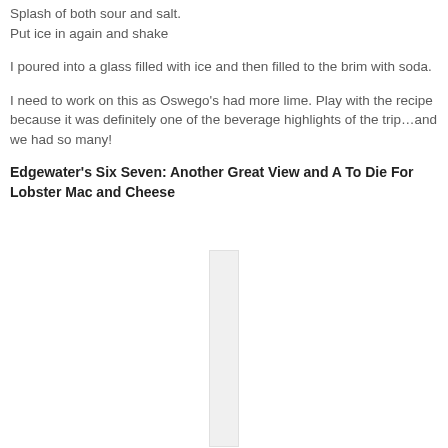Splash of both sour and salt. Put ice in again and shake
I poured into a glass filled with ice and then filled to the brim with soda.
I need to work on this as Oswego's had more lime. Play with the recipe because it was definitely one of the beverage highlights of the trip…and we had so many!
Edgewater's Six Seven: Another Great View and A To Die For Lobster Mac and Cheese
[Figure (photo): Partially visible photo below the section header, showing a narrow vertical white/light element on a white background]